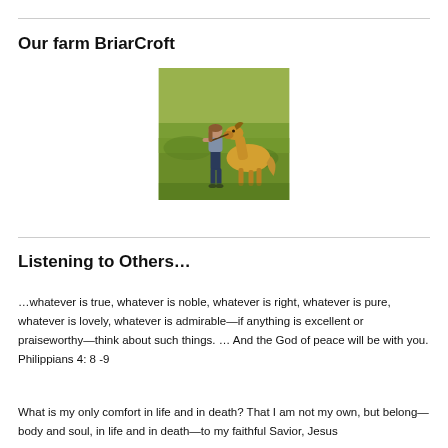Our farm BriarCroft
[Figure (photo): A girl leading a golden/palomino horse or pony in a green field]
Listening to Others…
…whatever is true, whatever is noble, whatever is right, whatever is pure, whatever is lovely, whatever is admirable—if anything is excellent or praiseworthy—think about such things. … And the God of peace will be with you. Philippians 4: 8 -9
What is my only comfort in life and in death? That I am not my own, but belong—body and soul, in life and in death—to my faithful Savior, Jesus